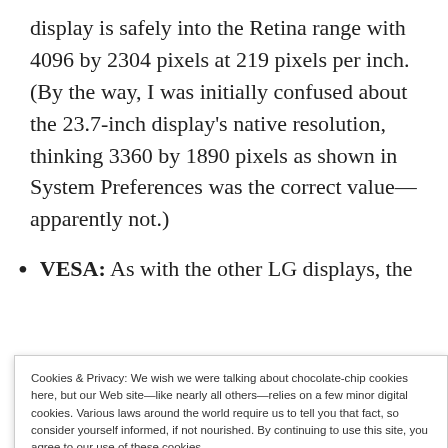display is safely into the Retina range with 4096 by 2304 pixels at 219 pixels per inch. (By the way, I was initially confused about the 23.7-inch display's native resolution, thinking 3360 by 1890 pixels as shown in System Preferences was the correct value—apparently not.)
VESA: As with the other LG displays, the
Cookies & Privacy: We wish we were talking about chocolate-chip cookies here, but our Web site—like nearly all others—relies on a few minor digital cookies. Various laws around the world require us to tell you that fact, so consider yourself informed, if not nourished. By continuing to use this site, you agree to our use of these cookies. Cookie and Privacy Notice
USB-C connector) and three plain USB-C